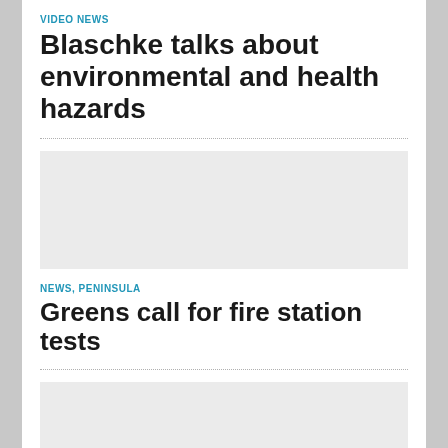VIDEO NEWS
Blaschke talks about environmental and health hazards
[Figure (photo): Light grey image placeholder for video news article about Blaschke and environmental/health hazards]
NEWS, PENINSULA
Greens call for fire station tests
[Figure (photo): Light grey image placeholder for news article about Greens calling for fire station tests]